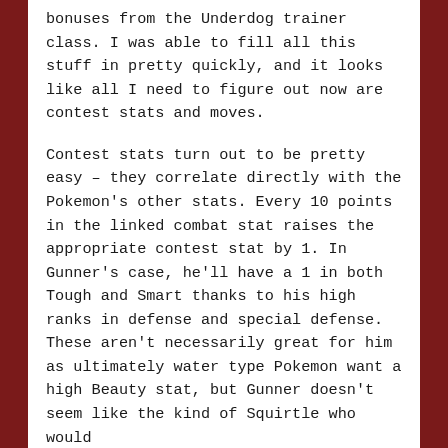bonuses from the Underdog trainer class. I was able to fill all this stuff in pretty quickly, and it looks like all I need to figure out now are contest stats and moves.
Contest stats turn out to be pretty easy – they correlate directly with the Pokemon's other stats. Every 10 points in the linked combat stat raises the appropriate contest stat by 1. In Gunner's case, he'll have a 1 in both Tough and Smart thanks to his high ranks in defense and special defense. These aren't necessarily great for him as ultimately water type Pokemon want a high Beauty stat, but Gunner doesn't seem like the kind of Squirtle who would